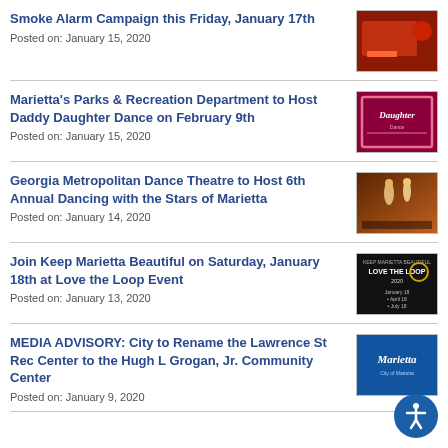Smoke Alarm Campaign this Friday, January 17th
Posted on: January 15, 2020
Marietta's Parks & Recreation Department to Host Daddy Daughter Dance on February 9th
Posted on: January 15, 2020
Georgia Metropolitan Dance Theatre to Host 6th Annual Dancing with the Stars of Marietta
Posted on: January 14, 2020
Join Keep Marietta Beautiful on Saturday, January 18th at Love the Loop Event
Posted on: January 13, 2020
MEDIA ADVISORY: City to Rename the Lawrence St Rec Center to the Hugh L Grogan, Jr. Community Center
Posted on: January 9, 2020